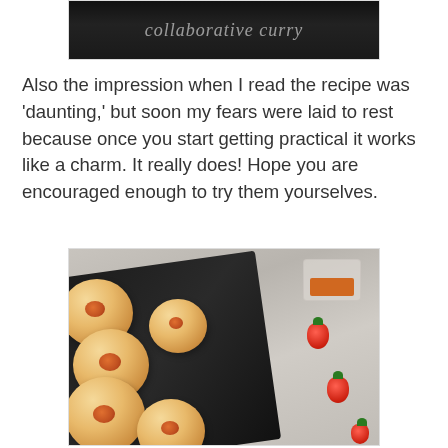[Figure (photo): Partial top image showing dark background with cursive text, cropped at top of page]
Also the impression when I read the recipe was 'daunting,' but soon my fears were laid to rest because once you start getting practical it works like a charm. It really does! Hope you are encouraged enough to try them yourselves.
[Figure (photo): Photo of golden bread rolls filled with jam/marmalade on a black baking tray, with a glass bowl of jam and strawberries on a wooden surface in the background]